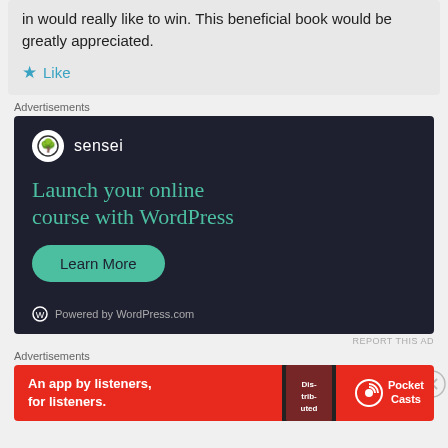in would really like to win. This beneficial book would be greatly appreciated.
★ Like
Advertisements
[Figure (screenshot): Sensei advertisement: dark navy background, Sensei logo (bonsai tree in white circle), text 'Launch your online course with WordPress' in teal, green 'Learn More' button, 'Powered by WordPress.com' footer]
REPORT THIS AD
Advertisements
[Figure (screenshot): Pocket Casts advertisement: red background, text 'An app by listeners, for listeners.', phone image showing 'Distributed' text, Pocket Casts logo on right]